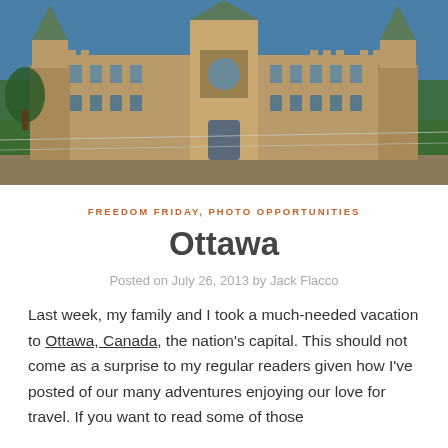[Figure (photo): Photograph of the Canadian Parliament Buildings in Ottawa, with Gothic Revival architecture, a central tower, green lawns in the foreground under a blue sky.]
FREEDOM FRIDAY, PHOTO OPPORTUNITIES
Ottawa
Posted on July 26, 2013 by Jack Flacco
Last week, my family and I took a much-needed vacation to Ottawa, Canada, the nation's capital. This should not come as a surprise to my regular readers given how I've posted of our many adventures enjoying our love for travel. If you want to read some of those